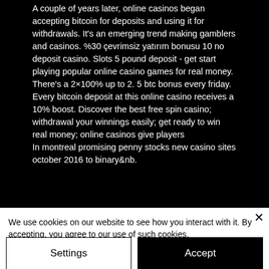A couple of years later, online casinos began accepting bitcoin for deposits and using it for withdrawals. It's an emerging trend making gamblers and casinos. %30 çevrimsiz yatırım bonusu 10 no deposit casino. Slots 5 pound deposit - get start playing popular online casino games for real money. There's a 2×100% up to 2. 5 btc bonus every friday. Every bitcoin deposit at this online casino receives a 10% boost. Discover the best free spin casino; withdrawal your winnings easily; get ready to win real money; online casinos give players
In montreal promising penny stocks new casino sites october 2016 to binary&nb.
We use cookies on our website to see how you interact with it. By accepting, you agree to our use of such cookies.
Settings
Accept